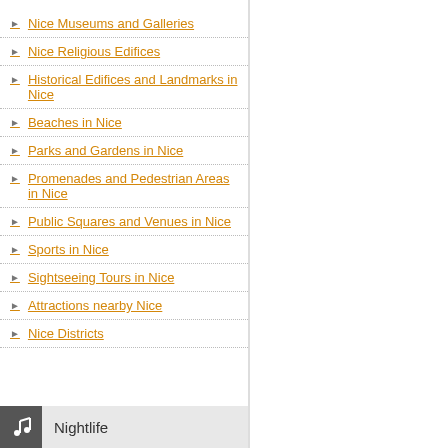Nice Museums and Galleries
Nice Religious Edifices
Historical Edifices and Landmarks in Nice
Beaches in Nice
Parks and Gardens in Nice
Promenades and Pedestrian Areas in Nice
Public Squares and Venues in Nice
Sports in Nice
Sightseeing Tours in Nice
Attractions nearby Nice
Nice Districts
Nightlife